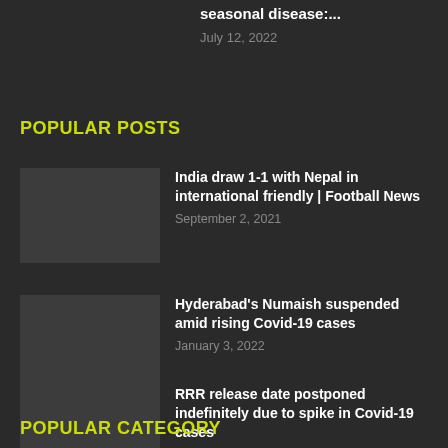seasonal disease:...
July 12, 2022
POPULAR POSTS
India draw 1-1 with Nepal in international friendly | Football News
September 2, 2021
Hyderabad's Numaish suspended amid rising Covid-19 cases
January 3, 2022
RRR release date postponed indefinitely due to spike in Covid-19 cases
January 2, 2022
POPULAR CATEGORY